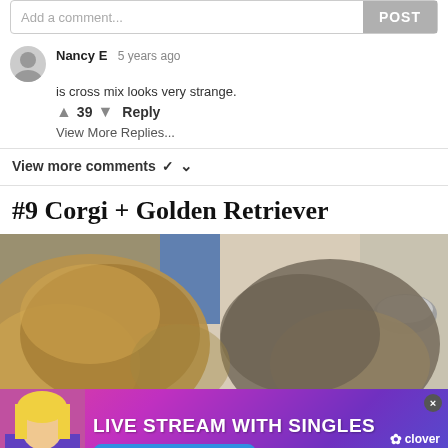Add a comment...
Nancy E  5 years ago
is cross mix looks very strange.
39  Reply
View More Replies...
View more comments
#9 Corgi + Golden Retriever
[Figure (photo): Top-down view of a dog's head and ears, golden/tan fur, in what appears to be a bathroom or indoor setting with a bowl visible]
[Figure (photo): Advertisement banner: LIVE STREAM WITH SINGLES - START YOUR FREE TRIAL NOW - clover app, featuring a blonde woman in purple top holding pink hearts]